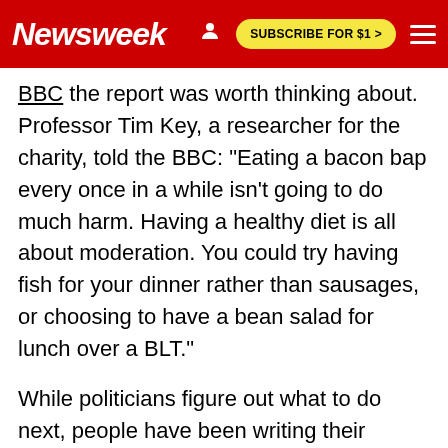Newsweek  SUBSCRIBE FOR $1 >
BBC the report was worth thinking about. Professor Tim Key, a researcher for the charity, told the BBC: "Eating a bacon bap every once in a while isn't going to do much harm. Having a healthy diet is all about moderation. You could try having fish for your dinner rather than sausages, or choosing to have a bean salad for lunch over a BLT."
While politicians figure out what to do next, people have been writing their opinions on Twitter using the hashtags #FreeBacon